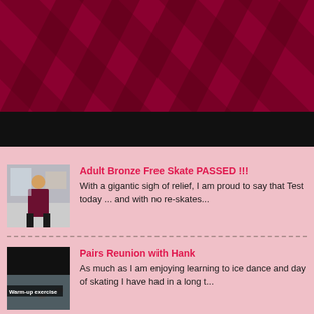[Figure (photo): Hero image showing a dark red/crimson patterned fabric or surface with diagonal chevron/stripe patterns, with a black section at the bottom. Appears to be a skating costume or venue decoration.]
[Figure (photo): Thumbnail of a person in a dark skating outfit standing indoors]
Adult Bronze Free Skate PASSED !!!
With a gigantic sigh of relief, I am proud to say that Test today ... and with no re-skates...
[Figure (photo): Thumbnail of an ice rink with text overlay 'Warm-up exercise']
Pairs Reunion with Hank
As much as I am enjoying learning to ice dance and day of skating I have had in a long t...